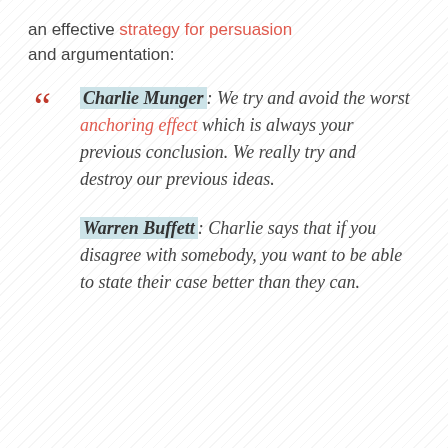an effective strategy for persuasion and argumentation:
Charlie Munger: We try and avoid the worst anchoring effect which is always your previous conclusion. We really try and destroy our previous ideas.
Warren Buffett: Charlie says that if you disagree with somebody, you want to be able to state their case better than they can.